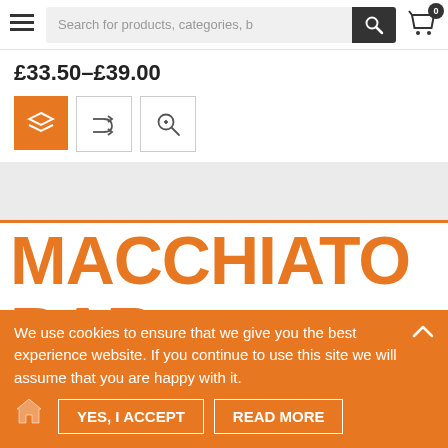Search for products, categories, b
£33.50–£39.00
[Figure (screenshot): Three icon buttons: layers (active, orange), shuffle, zoom-in]
[Figure (screenshot): Gray section placeholder area]
MACCHIATO BAR
Macchiato Bar, Brent Cross Shopping Centre, London NW4 3FP
We use cookies to ensure that we give you the best experience website. If you continue to use this site we will assume that you are happy with it.
YES, I ACCEPT
READ MORE